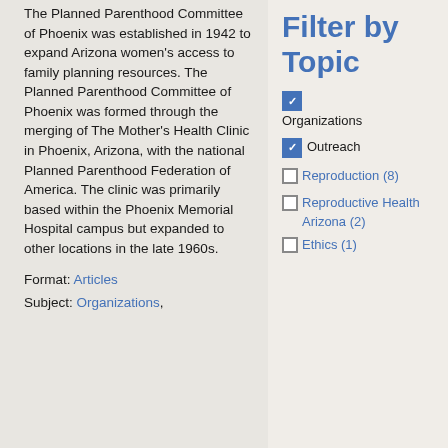The Planned Parenthood Committee of Phoenix was established in 1942 to expand Arizona women's access to family planning resources. The Planned Parenthood Committee of Phoenix was formed through the merging of The Mother's Health Clinic in Phoenix, Arizona, with the national Planned Parenthood Federation of America. The clinic was primarily based within the Phoenix Memorial Hospital campus but expanded to other locations in the late 1960s.
Format: Articles
Subject: Organizations,
Filter by Topic
[checked] Organizations
[checked] Outreach
[unchecked] Reproduction (8)
[unchecked] Reproductive Health Arizona (2)
[unchecked] Ethics (1)